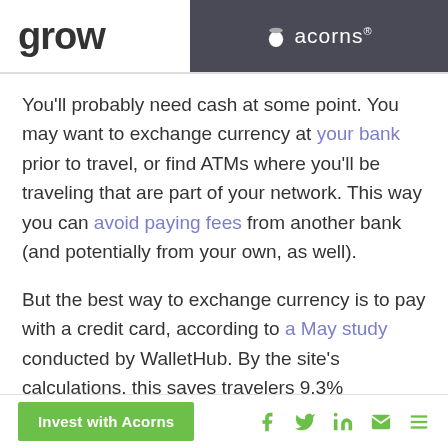grow | acorns®
You'll probably need cash at some point. You may want to exchange currency at your bank prior to travel, or find ATMs where you'll be traveling that are part of your network. This way you can avoid paying fees from another bank (and potentially from your own, as well).
But the best way to exchange currency is to pay with a credit card, according to a May study conducted by WalletHub. By the site's calculations, this saves travelers 9.3% compared with Travelex currency exchange counters, and
Invest with Acorns